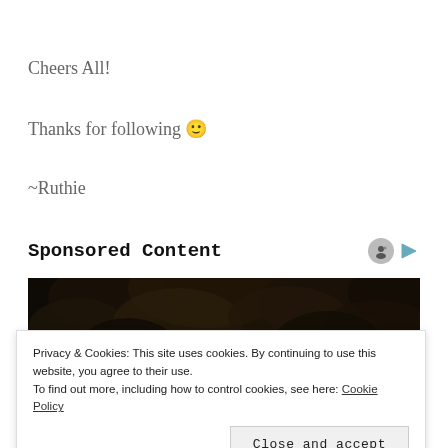Cheers All!
Thanks for following 🙂
~Ruthie
Sponsored Content
[Figure (photo): Close-up photo of a person with dark curly hair, partially visible]
Privacy & Cookies: This site uses cookies. By continuing to use this website, you agree to their use.
To find out more, including how to control cookies, see here: Cookie Policy
Close and accept